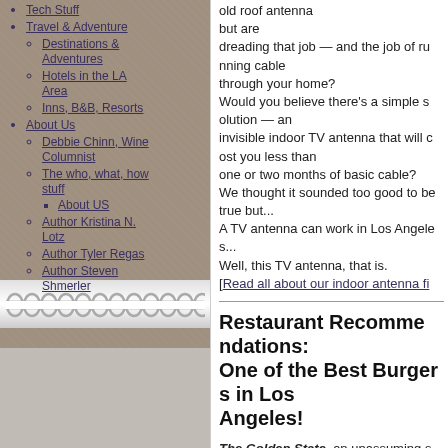Tech Stuff
Travel & Adventure
Destinations & Adventures
Hotels in the LA Area
Inns, B&B, Resorts
About Us
Debbie Chinn, Wine Columnist
The who, what, how stuff
About US
Author Kristina N. Lotz
Author Tyler Regas
Author Steven Shmerler
old roof antenna but are dreading that job — and the job of running cable through your home? Would you believe there's a simple solution — an invisible indoor TV antenna that will cost you less than one or two months of basic cable? We thought it sounded too good to be true but... A TV antenna can work in Los Angeles... Well, this TV antenna, that is. [Read all about our indoor antenna fi
Restaurant Recommendations: One of the Best Burgers in Los Angeles!
The Golden State, an unassuming spot just south of Melrose, consistently serves one of the best burgers in Los Angeles. Everything about this burger, and with this place, is served here are locally sourced and bought from companies that care about real food. These companies also practice sustainability. [Read all about this best burger reco
]]>